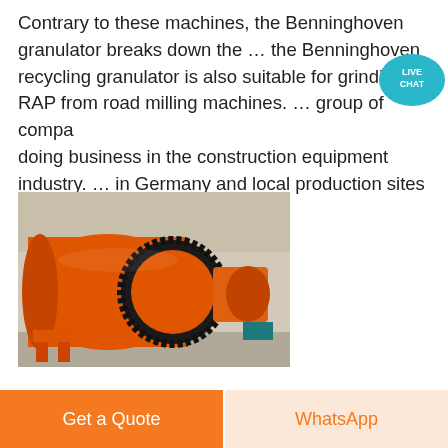Contrary to these machines, the Benninghoven granulator breaks down the … the Benninghoven recycling granulator is also suitable for grinding RAP from road milling machines. … group of companies doing business in the construction equipment industry. … in Germany and local production sites in Brazil, India and China.
[Figure (photo): Large orange industrial ball mill or granulator machine with a large ring gear visible, photographed in an industrial facility.]
Get a Quote
WhatsApp